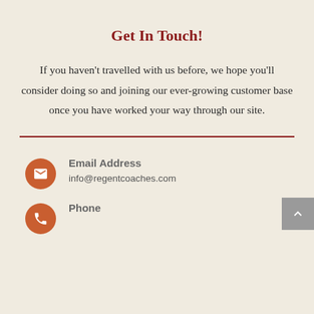Get In Touch!
If you haven't travelled with us before, we hope you'll consider doing so and joining our ever-growing customer base once you have worked your way through our site.
Email Address
info@regentcoaches.com
Phone